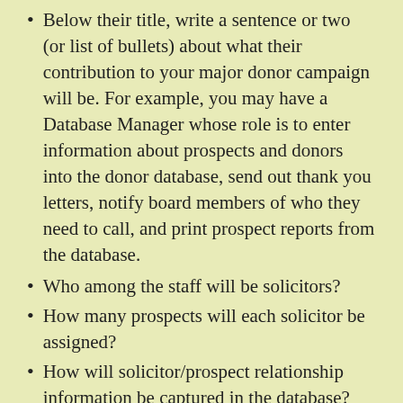Below their title, write a sentence or two (or list of bullets) about what their contribution to your major donor campaign will be. For example, you may have a Database Manager whose role is to enter information about prospects and donors into the donor database, send out thank you letters, notify board members of who they need to call, and print prospect reports from the database.
Who among the staff will be solicitors?
How many prospects will each solicitor be assigned?
How will solicitor/prospect relationship information be captured in the database?